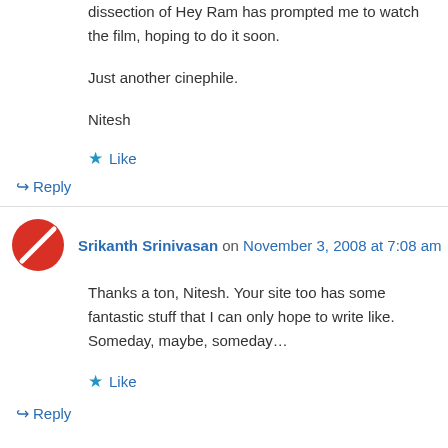dissection of Hey Ram has prompted me to watch the film, hoping to do it soon.
Just another cinephile.
Nitesh
★ Like
↳ Reply
Srikanth Srinivasan on November 3, 2008 at 7:08 am
Thanks a ton, Nitesh. Your site too has some fantastic stuff that I can only hope to write like. Someday, maybe, someday…
★ Like
↳ Reply